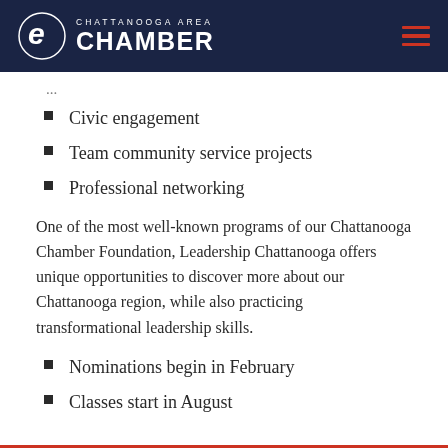CHATTANOOGA AREA CHAMBER
Civic engagement
Team community service projects
Professional networking
One of the most well-known programs of our Chattanooga Chamber Foundation, Leadership Chattanooga offers unique opportunities to discover more about our Chattanooga region, while also practicing transformational leadership skills.
Nominations begin in February
Classes start in August